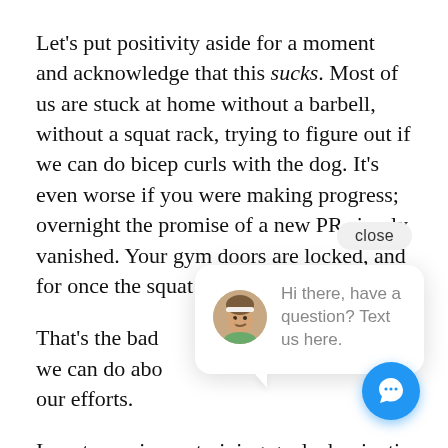Let's put positivity aside for a moment and acknowledge that this sucks. Most of us are stuck at home without a barbell, without a squat rack, trying to figure out if we can do bicep curls with the dog. It's even worse if you were making progress; overnight the promise of a new PR simply vanished. Your gym doors are locked, and for once the squat rack is open!
That's the bad [news. But there are things] we can do abo[ut it — we can still direct] our efforts.
I see two primary training goals dominating [the] landscape, at least for the foreseeable future. Put
[Figure (screenshot): Chat widget popup with avatar photo of a man wearing a headband, and text 'Hi there, have a question? Text us here.' with a close button and blue chat FAB icon.]